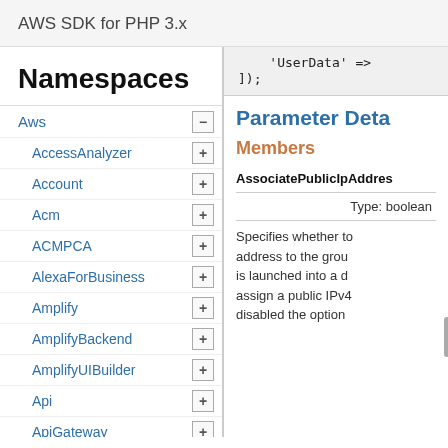AWS SDK for PHP 3.x
Namespaces
Aws
AccessAnalyzer
Account
Acm
ACMPCA
AlexaForBusiness
Amplify
AmplifyBackend
AmplifyUIBuilder
Api
ApiGateway
ApiGatewayManagementApi
'UserData' =>
]);
Parameter Deta
Members
AssociatePublicIpAddres
Type: boolean
Specifies whether to assign a public IPv4 address to the group... is launched into a d... assign a public IPv4... disabled the option...